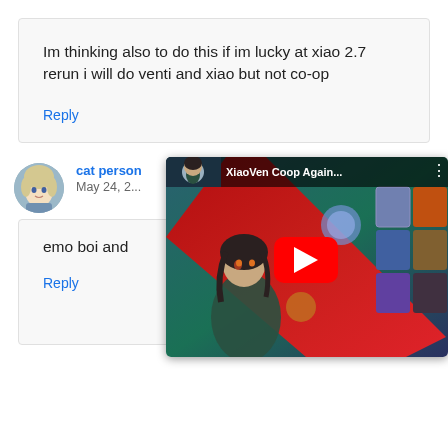Im thinking also to do this if im lucky at xiao 2.7 rerun i will do venti and xiao but not co-op
Reply
cat person
May 24, 2...
[Figure (screenshot): YouTube video thumbnail for 'XiaoVen Coop Again...' showing anime-style game characters with a red play button overlay and game item cards on the right side]
emo boi and...
Reply